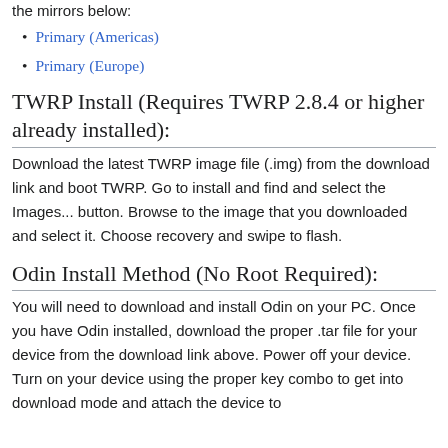the mirrors below:
Primary (Americas)
Primary (Europe)
TWRP Install (Requires TWRP 2.8.4 or higher already installed):
Download the latest TWRP image file (.img) from the download link and boot TWRP. Go to install and find and select the Images... button. Browse to the image that you downloaded and select it. Choose recovery and swipe to flash.
Odin Install Method (No Root Required):
You will need to download and install Odin on your PC. Once you have Odin installed, download the proper .tar file for your device from the download link above. Power off your device. Turn on your device using the proper key combo to get into download mode and attach the device to